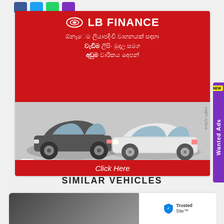[Figure (advertisement): LB Finance Leasing advertisement banner with red header showing LB Finance logo and Sinhala text about vehicle leasing, grey lower section showing two car illustrations (dark grey small car and white sedan), LB Finance Leasing logo, and red Click Here button at bottom.]
SIMILAR VEHICLES
[Figure (photo): Partial view of a vehicle photo at the bottom of the page, with TrustedSite badge in the bottom right corner.]